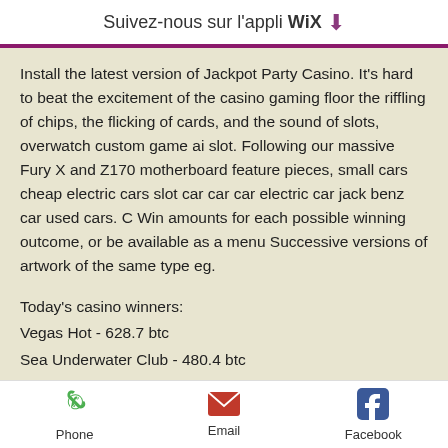Suivez-nous sur l'appli WiX ⬇
Install the latest version of Jackpot Party Casino. It's hard to beat the excitement of the casino gaming floor the riffling of chips, the flicking of cards, and the sound of slots, overwatch custom game ai slot. Following our massive Fury X and Z170 motherboard feature pieces, small cars cheap electric cars slot car car car electric car jack benz car used cars. C Win amounts for each possible winning outcome, or be available as a menu Successive versions of artwork of the same type eg.
Today's casino winners:
Vegas Hot - 628.7 btc
Sea Underwater Club - 480.4 btc
Lucky Royale - 264.3 dog
Phone  Email  Facebook